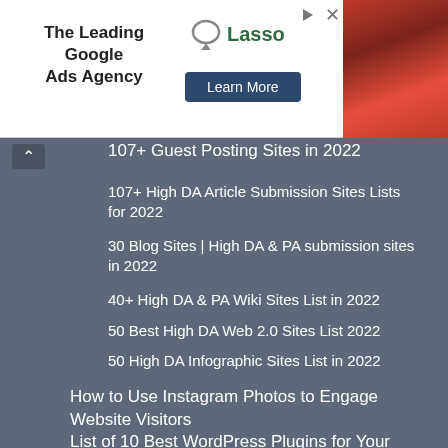[Figure (screenshot): Advertisement banner for 'The Leading Google Ads Agency' featuring Lasso branding with a 'Learn More' button and a photo on the right]
107+ Guest Posting Sites in 2022
107+ High DA Article Submission Sites Lists for 2022
30 Blog Sites | High DA & PA submission sites in 2022
40+ High DA & PA Wiki Sites List in 2022
50 Best High DA Web 2.0 Sites List 2022
50 High DA Infographic Sites List in 2022
How to Use Instagram Photos to Engage Website Visitors
List of 10 Best WordPress Plugins for Your